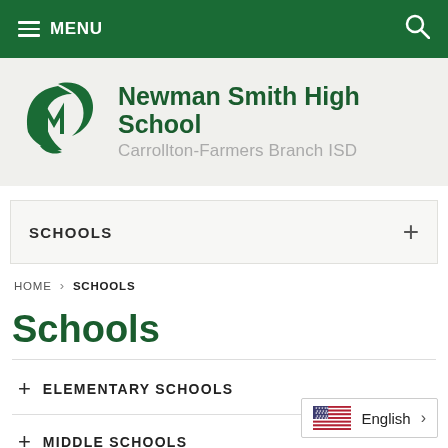MENU
[Figure (logo): Newman Smith High School logo — stylized green bird/leaf emblem with 'N' monogram]
Newman Smith High School Carrollton-Farmers Branch ISD
SCHOOLS
HOME > SCHOOLS
Schools
+ ELEMENTARY SCHOOLS
+ MIDDLE SCHOOLS
English